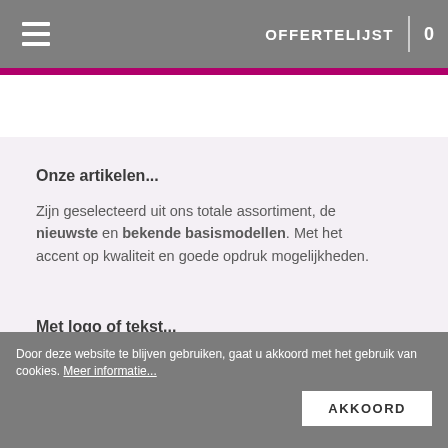OFFERTELIJST 0
Onze artikelen...
Zijn geselecteerd uit ons totale assortiment, de nieuwste en bekende basismodellen. Met het accent op kwaliteit en goede opdruk mogelijkheden.
Met logo of tekst...
Is geen probleem. Doen we vakkundig in eigen beheer, al vanaf 36 stuks. Gericht op kwaliteit en precisie, altijd een gratis drukproef vooraf.
Door deze website te blijven gebruiken, gaat u akkoord met het gebruik van cookies. Meer informatie... AKKOORD